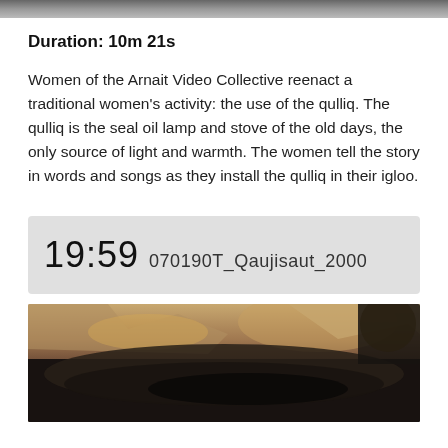[Figure (photo): Top portion of a video still, partially cropped at top of page]
Duration: 10m 21s
Women of the Arnait Video Collective reenact a traditional women's activity: the use of the qulliq. The qulliq is the seal oil lamp and stove of the old days, the only source of light and warmth. The women tell the story in words and songs as they install the qulliq in their igloo.
19:59 070190T_Qaujisaut_2000
[Figure (photo): Video still showing rocks and a dark pool of liquid or oil, outdoor terrain]